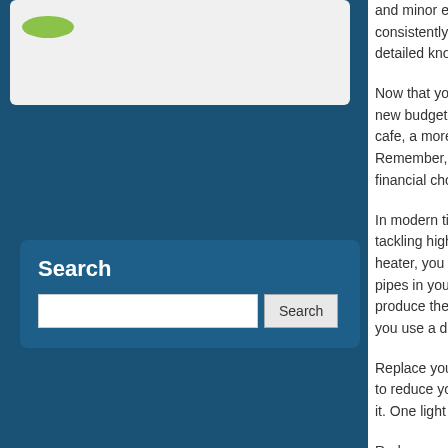[Figure (logo): Green oval logo in white box at top left]
Search
Search input box with Search button
and minor emergencies consistently spend detailed knowledge
Now that you know new budget. Start w cafe, a more afford Remember, you're financial choices c
In modern times, w tackling high bills. heater, you save m pipes in your home produce the repairs you use a dishwas
Replace your older to reduce your ele it. One light might n
Reduce your air co are investments th